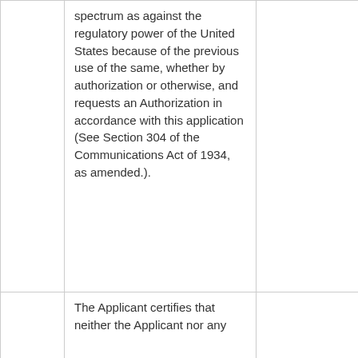|  | spectrum as against the regulatory power of the United States because of the previous use of the same, whether by authorization or otherwise, and requests an Authorization in accordance with this application (See Section 304 of the Communications Act of 1934, as amended.). |  |
|  | The Applicant certifies that neither the Applicant nor any |  |